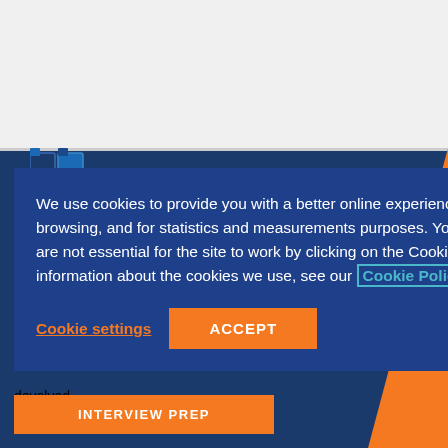[Figure (screenshot): Grey top bar area representing a browser/web page header]
We use cookies to provide you with a better online experience, to tailor advertising based on your browsing, and for statistics and measurements purposes. You can accept or reject cookies which are not essential for the site to work by clicking on the Cookie settings below. For more detailed information about the cookies we use, see our Cookie Policy
Cookie settings
ACCEPT
structured" and whether the future of healthcare will be devolved
INTERVIEW PREP